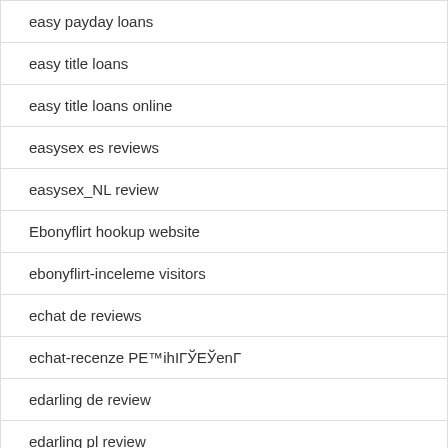easy payday loans
easy title loans
easy title loans online
easysex es reviews
easysex_NL review
Ebonyflirt hookup website
ebonyflirt-inceleme visitors
echat de reviews
echat-recenze PE™ihIГЎEЎenГ
edarling de review
edarling pl review